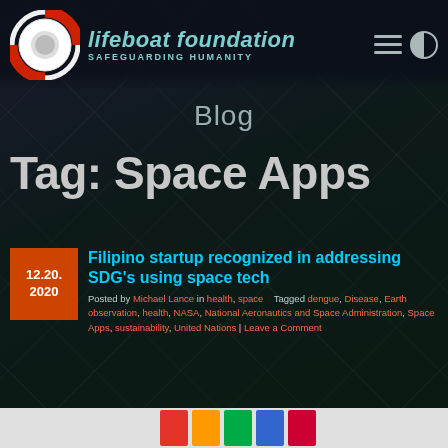lifeboat foundation SAFEGUARDING HUMANITY
Blog
Tag: Space Apps
Filipino startup recognized in addressing SDG's using space tech
12.20. 2020
Posted by Michael Lance in health, space   Tagged dengue, Disease, Earth observation, health, NASA, National Aeronautics and Space Administration, Space Apps, sustainability, United Nations | Leave a Comment